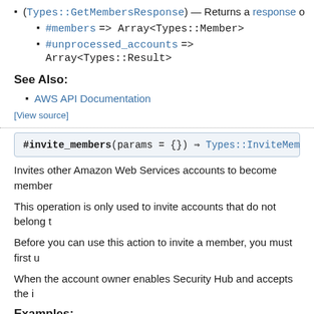(Types::GetMembersResponse) — Returns a response o
#members => Array<Types::Member>
#unprocessed_accounts => Array<Types::Result>
See Also:
AWS API Documentation
[View source]
#invite_members(params = {}) ⇒ Types::InviteMember
Invites other Amazon Web Services accounts to become member
This operation is only used to invite accounts that do not belong t
Before you can use this action to invite a member, you must first u
When the account owner enables Security Hub and accepts the i
Examples: